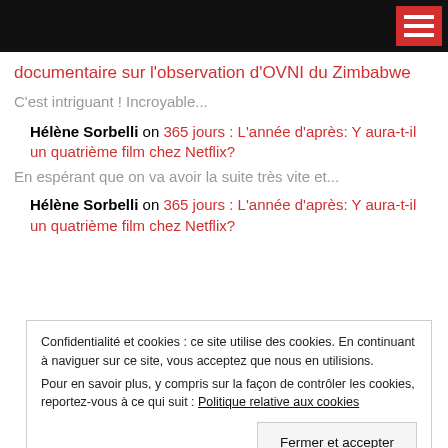documentaire sur l'observation d'OVNI du Zimbabwe
C'est intriguant ! Incroyable...
Hélène Sorbelli on 365 jours : L'année d'après: Y aura-t-il un quatrième film chez Netflix?
En espérant que on va avoir la suite très vite et...
Hélène Sorbelli on 365 jours : L'année d'après: Y aura-t-il un quatrième film chez Netflix?
Confidentialité et cookies : ce site utilise des cookies. En continuant à naviguer sur ce site, vous acceptez que nous en utilisions. Pour en savoir plus, y compris sur la façon de contrôler les cookies, reportez-vous à ce qui suit : Politique relative aux cookies
Fermer et accepter
Marthe on Georgia Guidestones: le